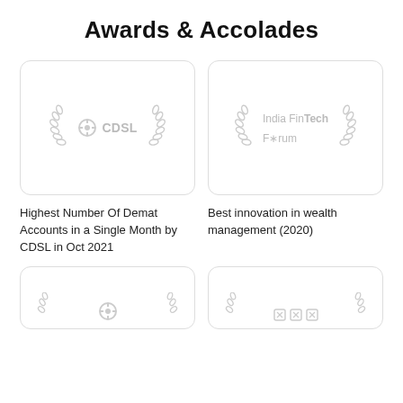Awards & Accolades
[Figure (logo): CDSL award card with laurel wreath decoration and CDSL logo]
[Figure (logo): India FinTech Forum award card with laurel wreath decoration]
Highest Number Of Demat Accounts in a Single Month by CDSL in Oct 2021
Best innovation in wealth management (2020)
[Figure (other): Partially visible award card at bottom left]
[Figure (other): Partially visible award card at bottom right]